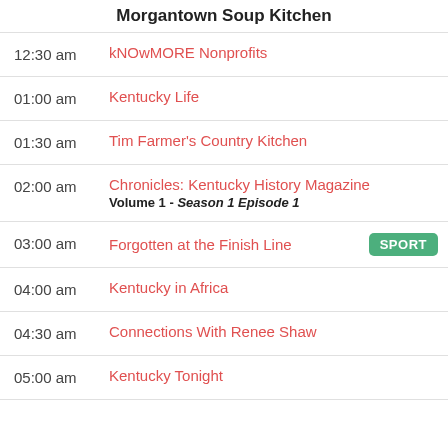Morgantown Soup Kitchen
12:30 am – kNOwMORE Nonprofits
01:00 am – Kentucky Life
01:30 am – Tim Farmer's Country Kitchen
02:00 am – Chronicles: Kentucky History Magazine Volume 1 - Season 1 Episode 1
03:00 am – Forgotten at the Finish Line [SPORT]
04:00 am – Kentucky in Africa
04:30 am – Connections With Renee Shaw
05:00 am – Kentucky Tonight